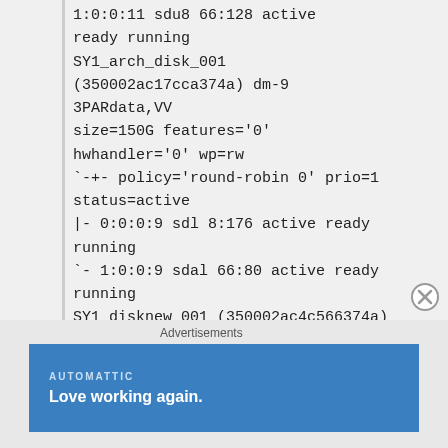1:0:0:11 sdu8 66:128 active ready running
SY1_arch_disk_001
(350002ac17cca374a) dm-9
3PARdata,VV
size=150G features='0'
hwhandler='0' wp=rw
`-+- policy='round-robin 0' prio=1 status=active
|- 0:0:0:9 sdl 8:176 active ready running
`- 1:0:0:9 sdal 66:80 active ready running
SY1_disknew_001 (350002ac4c566374a)
dm-4 3PARdata,VV
Advertisements
[Figure (other): Advertisement banner for Automattic with text 'Love working again.' on a blue background]